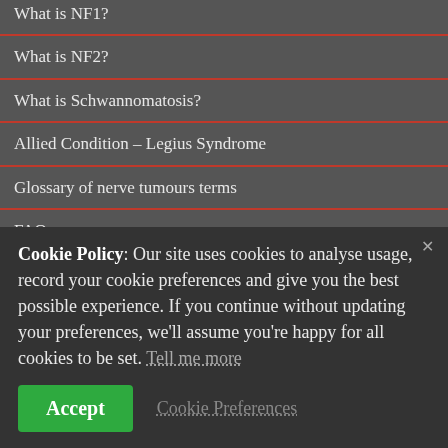What is NF1?
What is NF2?
What is Schwannomatosis?
Allied Condition – Legius Syndrome
Glossary of nerve tumours terms
FAQs
Neurofibromatosis Support Downloads
Cookie Policy: Our site uses cookies to analyse usage, record your cookie preferences and give you the best possible experience. If you continue without updating your preferences, we'll assume you're happy for all cookies to be set. Tell me more
Accept | Cookie Preferences